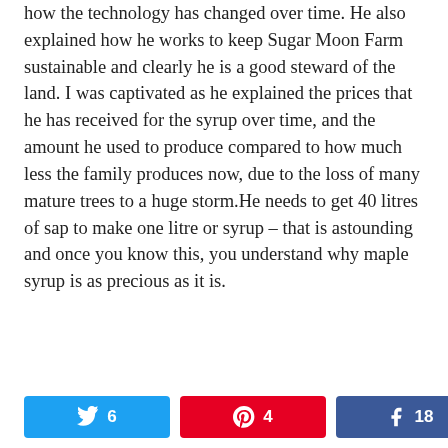how the technology has changed over time. He also explained how he works to keep Sugar Moon Farm sustainable and clearly he is a good steward of the land. I was captivated as he explained the prices that he has received for the syrup over time, and the amount he used to produce compared to how much less the family produces now, due to the loss of many mature trees to a huge storm.He needs to get 40 litres of sap to make one litre or syrup – that is astounding and once you know this, you understand why maple syrup is as precious as it is.
[Figure (infographic): Social share bar with Twitter (6 shares), Pinterest (4 shares), Facebook (18 shares), and total 28 SHARES]